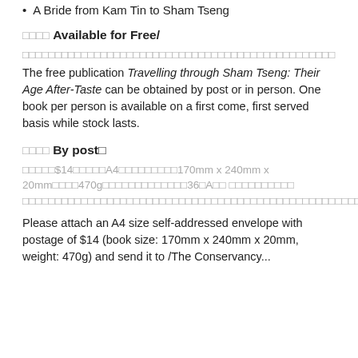A Bride from Kam Tin to Sham Tseng
□□□□ Available for Free/
□□□□□□□□□□□□□□□□□□□□□□□□□□□□□□□□□□□□□□□□□□□□
The free publication Travelling through Sham Tseng: Their Age After-Taste can be obtained by post or in person. One book per person is available on a first come, first served basis while stock lasts.
□□□□ By post□
□□□□□$14□□□□□A4□□□□□□□□□170mm x 240mm x 20mm□□□□470g□□□□□□□□□□□□□36□A□□ □□□□□□□□□□□□□□□□□□□□□□□□□□□□□□□□□□□□□□□□□□□□□□□□□□□□□□□□□□□□□
Please attach an A4 size self-addressed envelope with postage of $14 (book size: 170mm x 240mm x 20mm, weight: 470g) and send it to /The Conservancy...